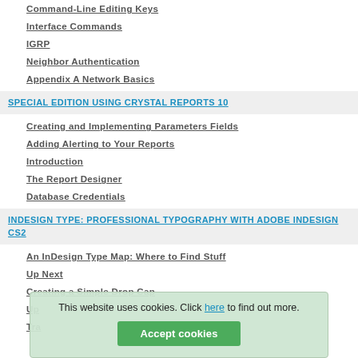Command-Line Editing Keys
Interface Commands
IGRP
Neighbor Authentication
Appendix A Network Basics
SPECIAL EDITION USING CRYSTAL REPORTS 10
Creating and Implementing Parameters Fields
Adding Alerting to Your Reports
Introduction
The Report Designer
Database Credentials
INDESIGN TYPE: PROFESSIONAL TYPOGRAPHY WITH ADOBE INDESIGN CS2
An InDesign Type Map: Where to Find Stuff
Up Next
Creating a Simple Drop Cap
Up
Tra
This website uses cookies. Click here to find out more.